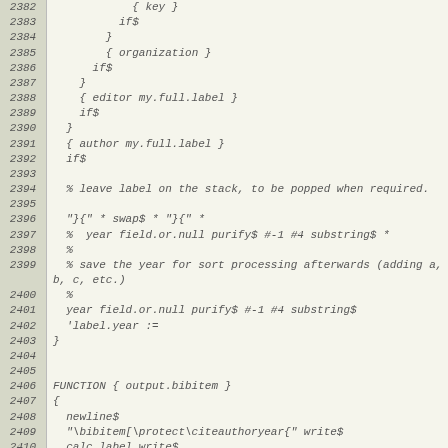[Figure (screenshot): Source code listing with line numbers 2382-2412 showing BibTeX/BST style code with functions for label generation and output.bibitem]